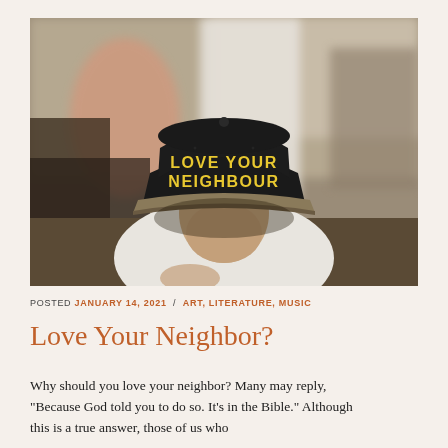[Figure (photo): A person bowing their head wearing a black snapback cap with yellow text reading 'LOVE YOUR NEIGHBOUR', in a crowded indoor setting with blurred background figures.]
POSTED JANUARY 14, 2021 / ART, LITERATURE, MUSIC
Love Your Neighbor?
Why should you love your neighbor? Many may reply, "Because God told you to do so. It's in the Bible." Although this is a true answer, those of us who